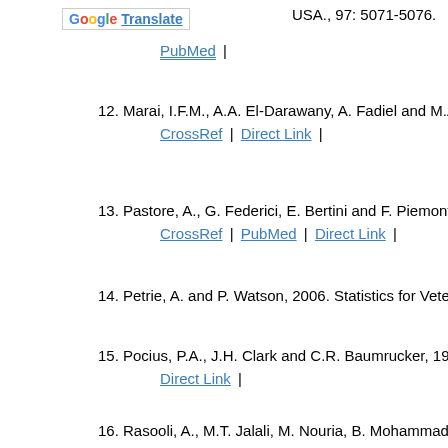[Figure (logo): Google Translate button logo]
USA., 97: 5071-5076.
12. Marai, I.F.M., A.A. El-Darawany, A. Fadiel and M.A.M...
CrossRef | Direct Link |
13. Pastore, A., G. Federici, E. Bertini and F. Piemonte, 2...
CrossRef | PubMed | Direct Link |
14. Petrie, A. and P. Watson, 2006. Statistics for Veterina...
15. Pocius, P.A., J.H. Clark and C.R. Baumrucker, 1981....
Direct Link |
16. Rasooli, A., M.T. Jalali, M. Nouria, B. Mohammadian a...
developing lambs. Anim. Reprod. Sci., 117: 55-59.
CrossRef | Direct Link |